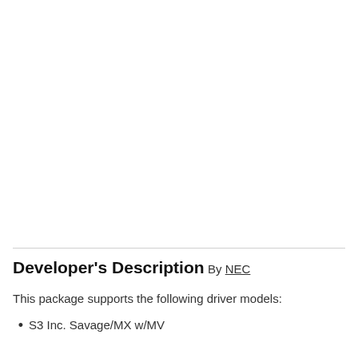Developer's Description
By NEC
This package supports the following driver models:
S3 Inc. Savage/MX w/MV